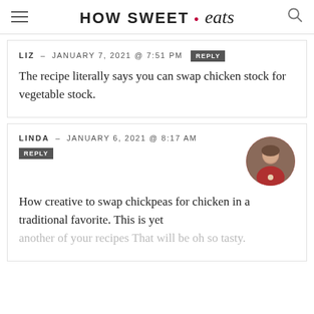HOW SWEET • eats
LIZ – JANUARY 7, 2021 @ 7:51 PM  REPLY
The recipe literally says you can swap chicken stock for vegetable stock.
LINDA – JANUARY 6, 2021 @ 8:17 AM  REPLY
How creative to swap chickpeas for chicken in a traditional favorite. This is yet another of your recipes That will be oh so tasty.